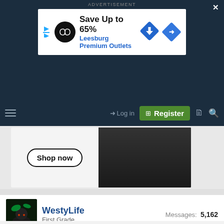[Figure (screenshot): Advertisement banner: Save Up to 65% Leesburg Premium Outlets with infinity logo and blue diamond arrow]
[Figure (screenshot): Navigation bar with hamburger menu, Log in link, Register button, document and search icons]
[Figure (screenshot): Adidas Shop now banner ad with people wearing adidas clothing]
WestyLife
First Grade
Messages: 5,162
Jun 24, 2021
roofromoz said:
Jumping the gun a bit here with the match thread given it's still a (long) 5 and a bit weeks away.